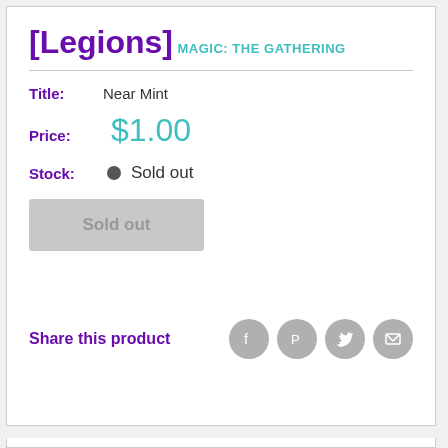[Legions]
MAGIC: THE GATHERING
Title:  Near Mint
Price:  $1.00
Stock:  Sold out
Sold out
Share this product